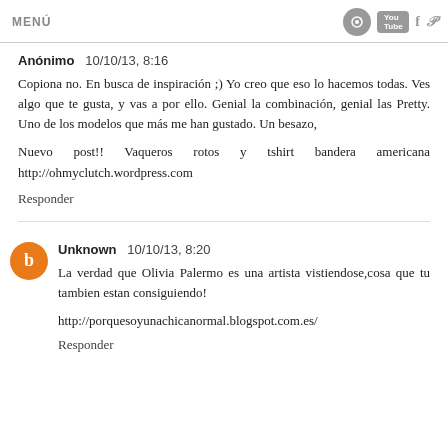MENÚ
Anónimo  10/10/13, 8:16
Copiona no. En busca de inspiración ;) Yo creo que eso lo hacemos todas. Ves algo que te gusta, y vas a por ello. Genial la combinación, genial las Pretty. Uno de los modelos que más me han gustado. Un besazo,
Nuevo post!! Vaqueros rotos y tshirt bandera americana http://ohmyclutch.wordpress.com
Responder
Unknown  10/10/13, 8:20
La verdad que Olivia Palermo es una artista vistiendose,cosa que tu tambien estan consiguiendo!
http://porquesoyunachicanormal.blogspot.com.es/
Responder